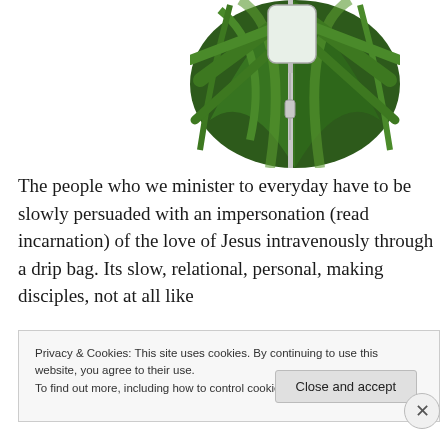[Figure (photo): An IV drip bag on a pole in front of large green tropical plant leaves, white background.]
The people who we minister to everyday have to be slowly persuaded with an impersonation (read incarnation) of the love of Jesus intravenously through a drip bag. Its slow, relational, personal, making disciples, not at all like
"church as usual" – in fact, we get so close you can watch
Privacy & Cookies: This site uses cookies. By continuing to use this website, you agree to their use.
To find out more, including how to control cookies, see here: Cookie Policy